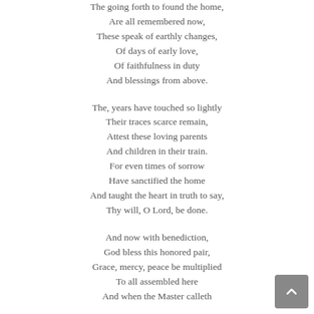The going forth to found the home,
Are all remembered now,
These speak of earthly changes,
Of days of early love,
Of faithfulness in duty
And blessings from above.

The, years have touched so lightly
Their traces scarce remain,
Attest these loving parents
And children in their train.
For even times of sorrow
Have sanctified the home
And taught the heart in truth to say,
Thy will, O Lord, be done.

And now with benediction,
God bless this honored pair,
Grace, mercy, peace be multiplied
To all assembled here
And when the Master calleth